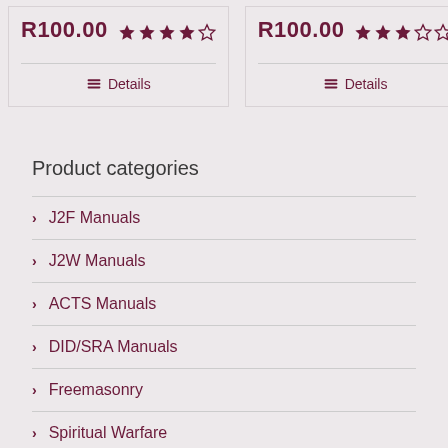R100.00 ★★★★☆ Details
R100.00 ★★★☆☆ Details
Product categories
J2F Manuals
J2W Manuals
ACTS Manuals
DID/SRA Manuals
Freemasonry
Spiritual Warfare